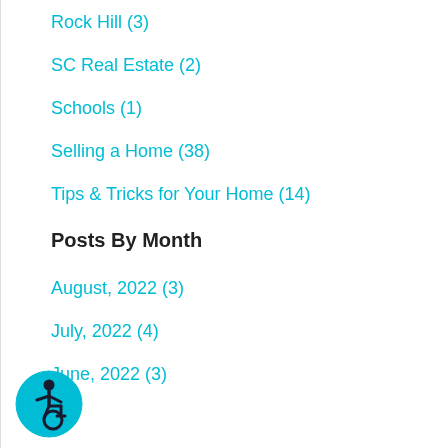Rock Hill  (3)
SC Real Estate  (2)
Schools  (1)
Selling a Home  (38)
Tips & Tricks for Your Home  (14)
Posts By Month
August, 2022  (3)
July, 2022  (4)
June, 2022  (3)
[Figure (illustration): Accessibility icon: a person in a wheelchair in a teal circle]